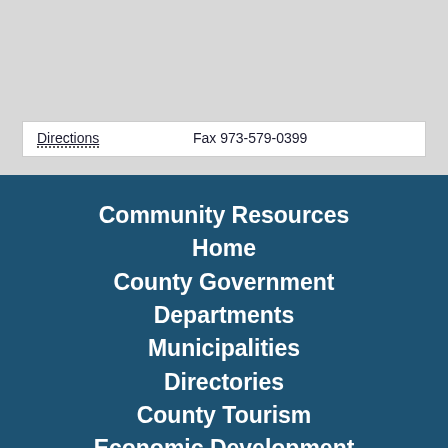| Directions | Fax 973-579-0399 |
Community Resources
Home
County Government
Departments
Municipalities
Directories
County Tourism
Economic Development